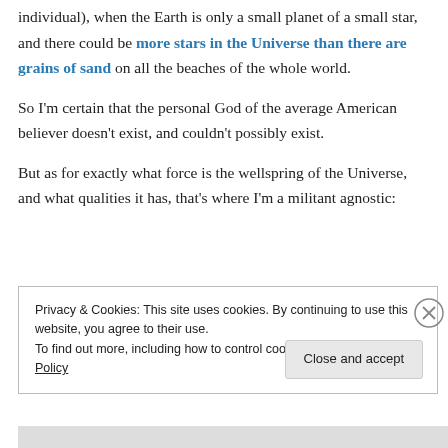individual), when the Earth is only a small planet of a small star, and there could be more stars in the Universe than there are grains of sand on all the beaches of the whole world.
So I'm certain that the personal God of the average American believer doesn't exist, and couldn't possibly exist.
But as for exactly what force is the wellspring of the Universe, and what qualities it has, that's where I'm a militant agnostic:
Privacy & Cookies: This site uses cookies. By continuing to use this website, you agree to their use. To find out more, including how to control cookies, see here: Cookie Policy